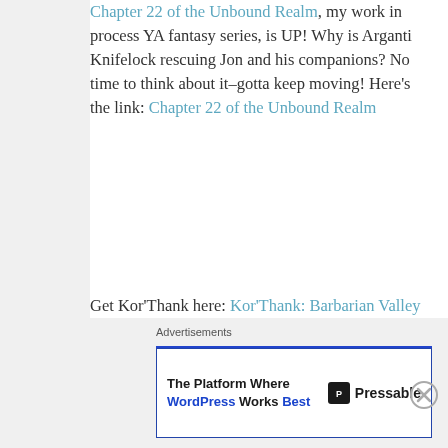Chapter 22 of the Unbound Realm, my work in process YA fantasy series, is UP!  Why is Arganti Knifelock rescuing Jon and his companions?  No time to think about it–gotta keep moving!  Here's the link:  Chapter 22 of the Unbound Realm
Get Kor'Thank here:  Kor'Thank:  Barbarian Valley Girl.  Get Echo Vol. 1 on Kindle here:  Vol. 1 on Kindle.  Vol. 2 on Kindle here:  Vol.2 on Kindle  Vol. 3 on Kindle here:  Vol. 3 on Kindle  Vol.4 on Kindle here:  Vol. 4 on Kindle  Echo Omnibus here:  Echo Omnibus  Echo Vol. 1 & 2 Combined Edition here:  Combined Edition  Musings, Volume 1 is available here:  Musings, Volume 1  If you wanna hear me babble on about anything and everything,
Advertisements
The Platform Where WordPress Works Best | Pressable